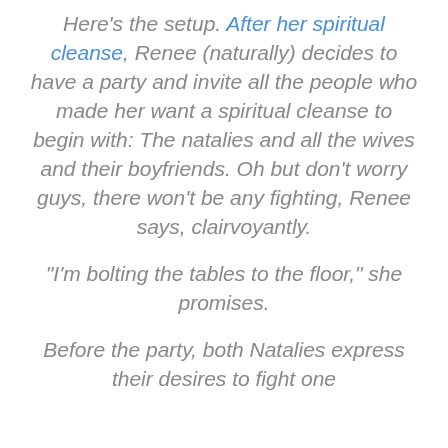Here's the setup. After her spiritual cleanse, Renee (naturally) decides to have a party and invite all the people who made her want a spiritual cleanse to begin with: The natalies and all the wives and their boyfriends. Oh but don't worry guys, there won't be any fighting, Renee says, clairvoyantly.
"I'm bolting the tables to the floor," she promises.
Before the party, both Natalies express their desires to fight one